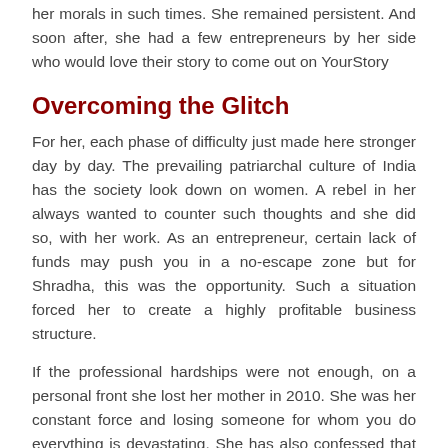her morals in such times. She remained persistent. And soon after, she had a few entrepreneurs by her side who would love their story to come out on YourStory
Overcoming the Glitch
For her, each phase of difficulty just made here stronger day by day. The prevailing patriarchal culture of India has the society look down on women. A rebel in her always wanted to counter such thoughts and she did so, with her work. As an entrepreneur, certain lack of funds may push you in a no-escape zone but for Shradha, this was the opportunity. Such a situation forced her to create a highly profitable business structure.
If the professional hardships were not enough, on a personal front she lost her mother in 2010. She was her constant force and losing someone for whom you do everything is devastating. She has also confessed that quitting the job and then while building YourStory